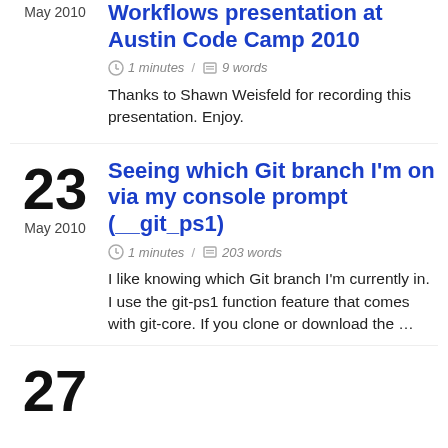May 2010
Workflows presentation at Austin Code Camp 2010
1 minutes / 9 words
Thanks to Shawn Weisfeld for recording this presentation. Enjoy.
23
May 2010
Seeing which Git branch I'm on via my console prompt (__git_ps1)
1 minutes / 203 words
I like knowing which Git branch I'm currently in. I use the git-ps1 function feature that comes with git-core. If you clone or download the …